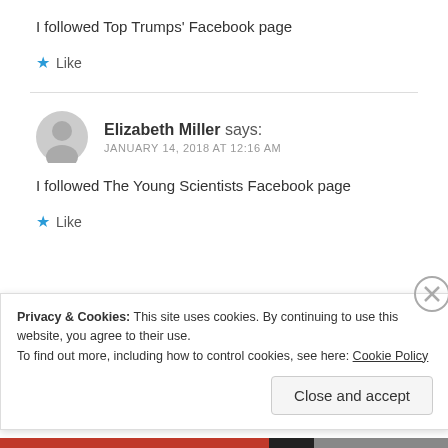I followed Top Trumps' Facebook page
★ Like
Elizabeth Miller says: JANUARY 14, 2018 AT 12:16 AM
I followed The Young Scientists Facebook page
★ Like
Privacy & Cookies: This site uses cookies. By continuing to use this website, you agree to their use.
To find out more, including how to control cookies, see here: Cookie Policy
Close and accept